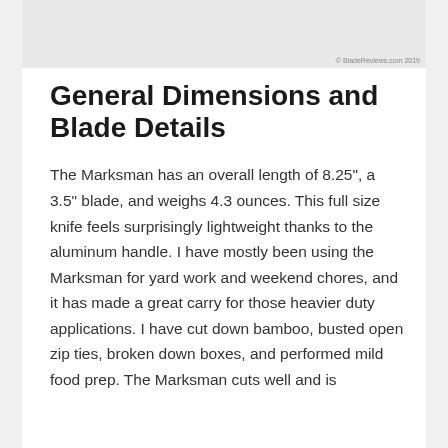[Figure (photo): Partial photo of a knife (Marksman), light background, cropped at top of page]
© BladeReviews.com 2019
General Dimensions and Blade Details
The Marksman has an overall length of 8.25", a 3.5" blade, and weighs 4.3 ounces. This full size knife feels surprisingly lightweight thanks to the aluminum handle. I have mostly been using the Marksman for yard work and weekend chores, and it has made a great carry for those heavier duty applications. I have cut down bamboo, busted open zip ties, broken down boxes, and performed mild food prep. The Marksman cuts well and is